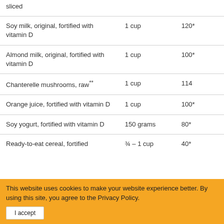| Food | Serving size | IU |
| --- | --- | --- |
| [...] sliced |  |  |
| Soy milk, original, fortified with vitamin D | 1 cup | 120* |
| Almond milk, original, fortified with vitamin D | 1 cup | 100* |
| Chanterelle mushrooms, raw** | 1 cup | 114 |
| Orange juice, fortified with vitamin D | 1 cup | 100* |
| Soy yogurt, fortified with vitamin D | 150 grams | 80* |
| Ready-to-eat cereal, fortified | ¾ – 1 cup | 40* |
This website uses cookies to make your website experience better. By using this site, you agree to the Privacy Policy.